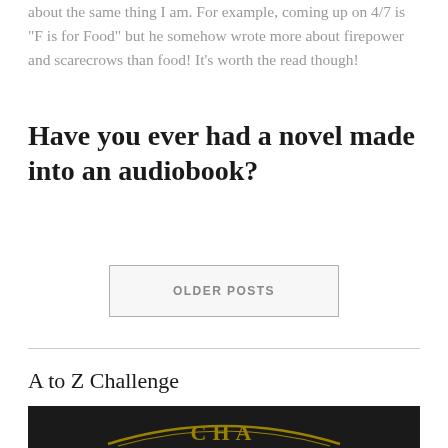about the same thing I am. For example, coming up on 4/7 is "F is for Food" but he somehow wrote more about firepower and scarecrows than food! It's worth the read though!
Have you ever had a novel made into an audiobook?
OLDER POSTS
A to Z Challenge
[Figure (logo): A to Z Challenge badge with gold text on black background showing 'CHA' letters]